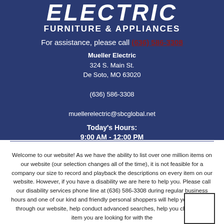ELECTRIC FURNITURE & APPLIANCES
For assistance, please call (636) 586-3308
Mueller Electric
324 S. Main St.
De Soto, MO 63020
(636) 586-3308
muellerelectric@sbcglobal.net
Today's Hours:
9:00 AM - 12:00 PM
Welcome to our website! As we have the ability to list over one million items on our website (our selection changes all of the time), it is not feasible for a company our size to record and playback the descriptions on every item on our website. However, if you have a disability we are here to help you. Please call our disability services phone line at (636) 586-3308 during regular business hours and one of our kind and friendly personal shoppers will help you navigate through our website, help conduct advanced searches, help you choose the item you are looking for with the